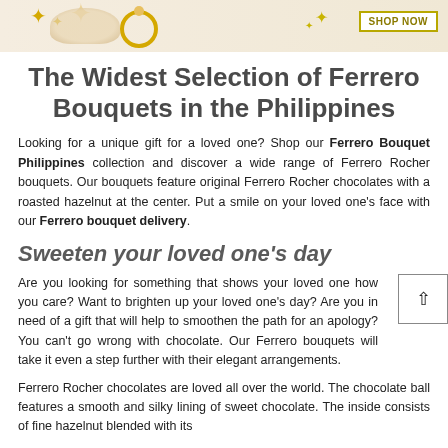[Figure (photo): Top banner image with Ferrero chocolates, ring, gold star decorations and a SHOP NOW button with gold border]
The Widest Selection of Ferrero Bouquets in the Philippines
Looking for a unique gift for a loved one? Shop our Ferrero Bouquet Philippines collection and discover a wide range of Ferrero Rocher bouquets. Our bouquets feature original Ferrero Rocher chocolates with a roasted hazelnut at the center. Put a smile on your loved one's face with our Ferrero bouquet delivery.
Sweeten your loved one's day
Are you looking for something that shows your loved one how you care? Want to brighten up your loved one's day? Are you in need of a gift that will help to smoothen the path for an apology? You can't go wrong with chocolate. Our Ferrero bouquets will take it even a step further with their elegant arrangements.
Ferrero Rocher chocolates are loved all over the world. The chocolate ball features a smooth and silky lining of sweet chocolate. The inside consists of fine hazelnut blended with its...